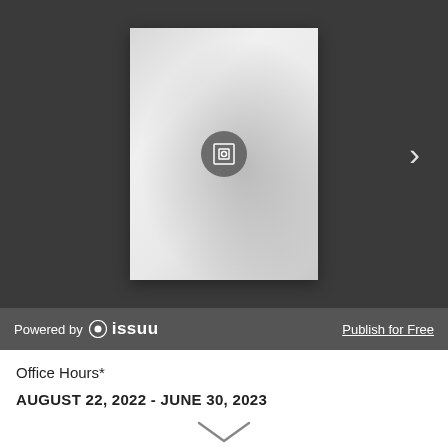[Figure (screenshot): Issuu document viewer embed showing a partially loaded document page with a fullscreen/expand icon button in the center, navigation arrow on the right, and Issuu branding footer bar with 'Powered by issuu' and 'Publish for Free' link.]
Office Hours*
AUGUST 22, 2022 - JUNE 30, 2023
Monday – Thursday.........8:00 AM – 8:00 PM